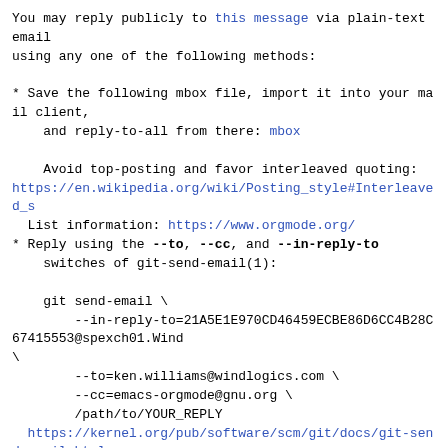You may reply publicly to this message via plain-text email
using any one of the following methods:
* Save the following mbox file, import it into your mail client,
    and reply-to-all from there: mbox

    Avoid top-posting and favor interleaved quoting:
https://en.wikipedia.org/wiki/Posting_style#Interleaved_s
List information: https://www.orgmode.org/
* Reply using the --to, --cc, and --in-reply-to
    switches of git-send-email(1):

    git send-email \
        --in-reply-to=21A5E1E970CD46459ECBE86D6CC4B28C67415553@spexch01.Wind
\
        --to=ken.williams@windlogics.com \
        --cc=emacs-orgmode@gnu.org \
        /path/to/YOUR_REPLY
https://kernel.org/pub/software/scm/git/docs/git-send-email.html
* If your mail client supports setting the In-Reply-To